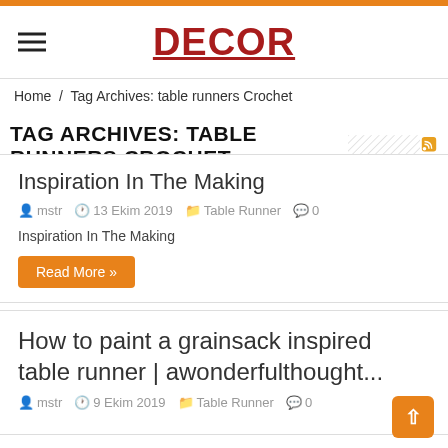DECOR
Home / Tag Archives: table runners Crochet
TAG ARCHIVES: TABLE RUNNERS CROCHET
Inspiration In The Making
mstr   13 Ekim 2019   Table Runner   0
Inspiration In The Making
Read More »
How to paint a grainsack inspired table runner | awonderfulthought...
mstr   9 Ekim 2019   Table Runner   0